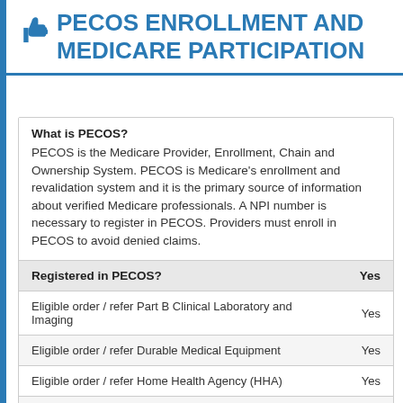PECOS ENROLLMENT AND MEDICARE PARTICIPATION
What is PECOS?
PECOS is the Medicare Provider, Enrollment, Chain and Ownership System. PECOS is Medicare's enrollment and revalidation system and it is the primary source of information about verified Medicare professionals. A NPI number is necessary to register in PECOS. Providers must enroll in PECOS to avoid denied claims.
|  |  |
| --- | --- |
| Registered in PECOS? | Yes |
| Eligible order / refer Part B Clinical Laboratory and Imaging | Yes |
| Eligible order / refer Durable Medical Equipment | Yes |
| Eligible order / refer Home Health Agency (HHA) | Yes |
| Eligible order / refer Power Mobility Devices | Yes |